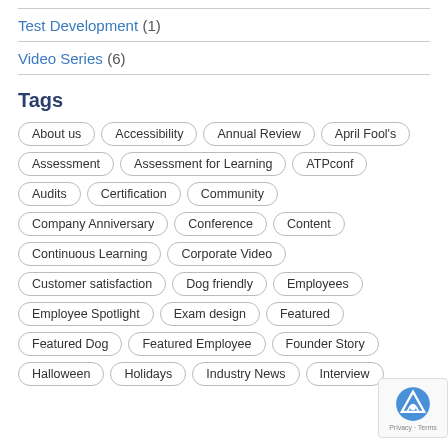Test Development (1)
Video Series (6)
Tags
About us
Accessibility
Annual Review
April Fool's
Assessment
Assessment for Learning
ATPconf
Audits
Certification
Community
Company Anniversary
Conference
Content
Continuous Learning
Corporate Video
Customer satisfaction
Dog friendly
Employees
Employee Spotlight
Exam design
Featured
Featured Dog
Featured Employee
Founder Story
Halloween
Holidays
Industry News
Interview